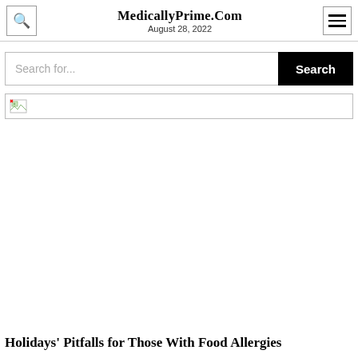MedicallyPrime.Com
August 28, 2022
[Figure (screenshot): Search bar with 'Search for...' placeholder text and a black 'Search' button on the right]
[Figure (photo): Broken image placeholder — a small broken image icon in the top-left of a wide bordered rectangle]
Holidays' Pitfalls for Those With Food Allergies